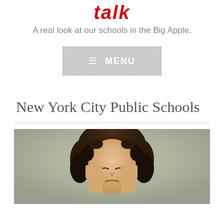talk
A real look at our schools in the Big Apple.
[Figure (other): Navigation menu button with hamburger icon and MENU text on grey background with dashed border]
New York City Public Schools
[Figure (photo): A woman with curly dark hair holding her hands to her head in a stressed or frustrated expression, photographed against a grey-green background]